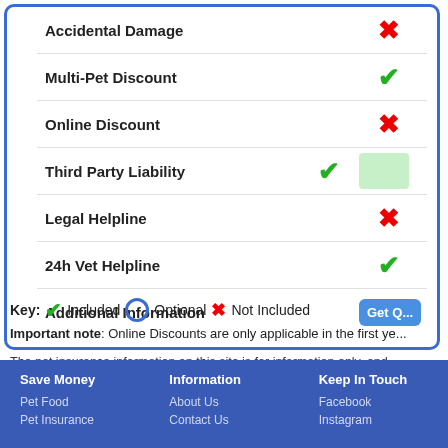| Feature | Included? | Action |
| --- | --- | --- |
| Accidental Damage | ✗ |  |
| Multi-Pet Discount | ✓ |  |
| Online Discount | ✗ |  |
| Third Party Liability | ✓ | (green button) |
| Legal Helpline | ✗ |  |
| 24h Vet Helpline | ✓ |  |
| Additional Information |  | Get Q... |
Key: ✓ Included  ○ Optional  ✗ Not Included
Important note: Online Discounts are only applicable in the first ye...
The pet insurance information on this site is for information only, and information may have been superseded. You are advised to check on the Pet Insurance company's website.
Save Money: Pet Food, Pet Insurance | Information: About Us, Contact Us | Keep In Touch: Facebook, Instagram